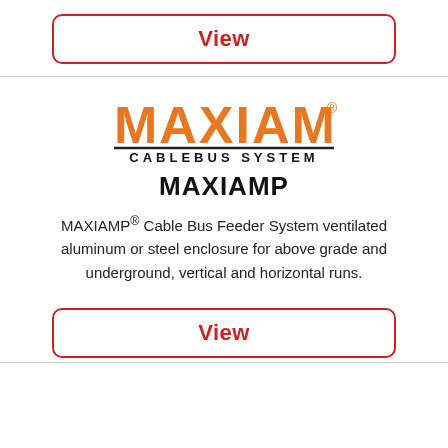[Figure (logo): View button at top — red outlined rounded rectangle with red bold 'View' text]
[Figure (logo): MAXIAMP Cablebus System logo — orange bold MAXIAMP text with registered trademark, black horizontal rule, 'CABLEBUS SYSTEM' in spaced black capitals below]
MAXIAMP
MAXIAMP® Cable Bus Feeder System ventilated aluminum or steel enclosure for above grade and underground, vertical and horizontal runs.
[Figure (logo): View button at bottom — red outlined rounded rectangle with red bold 'View' text]